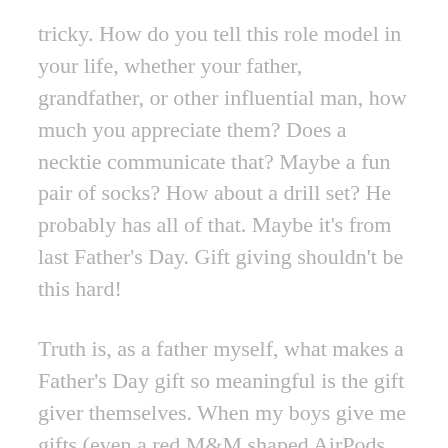tricky. How do you tell this role model in your life, whether your father, grandfather, or other influential man, how much you appreciate them? Does a necktie communicate that? Maybe a fun pair of socks? How about a drill set? He probably has all of that. Maybe it's from last Father's Day. Gift giving shouldn't be this hard!
Truth is, as a father myself, what makes a Father's Day gift so meaningful is the gift giver themselves. When my boys give me gifts (even a red M&M shaped AirPods holder they bought at a school auction) it is my delight to use them because I know they joy they felt as the giver. A meaningful card or a hand-drawn pictures from the kids and a little gift that shows they were thinking about me is all I need. With the Inspired Collection from Milkglass, you can give dad the chance to remember just how loved he is every